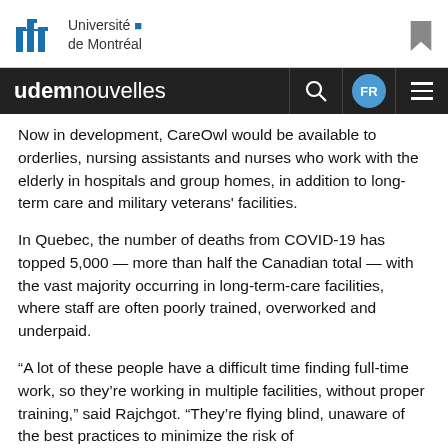Université de Montréal
udemnouvelles
Now in development, CareOwl would be available to orderlies, nursing assistants and nurses who work with the elderly in hospitals and group homes, in addition to long-term care and military veterans' facilities.
In Quebec, the number of deaths from COVID-19 has topped 5,000 — more than half the Canadian total — with the vast majority occurring in long-term-care facilities, where staff are often poorly trained, overworked and underpaid.
“A lot of these people have a difficult time finding full-time work, so they’re working in multiple facilities, without proper training,” said Rajchgot. “They’re flying blind, unaware of the best practices to minimize the risk of